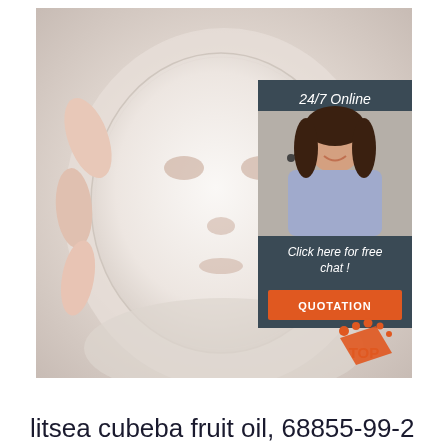[Figure (photo): Person holding a white facial sheet mask in their hands, light background, beauty/cosmetic product context. Overlaid with a '24/7 Online' chat support widget featuring a female customer service agent with headset, and an orange 'QUOTATION' button. A 'TOP' badge appears in the lower right corner.]
litsea cubeba fruit oil, 68855-99-2